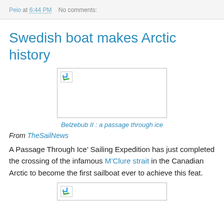Peio at 6:44 PM    No comments:
Swedish boat makes Arctic history
[Figure (photo): Broken image placeholder for Belzebub II sailing vessel]
Belzebub II : a passage through ice
From TheSailNews
A Passage Through Ice’ Sailing Expedition has just completed the crossing of the infamous M’Clure strait in the Canadian Arctic to become the first sailboat ever to achieve this feat.
[Figure (photo): Second broken image placeholder]